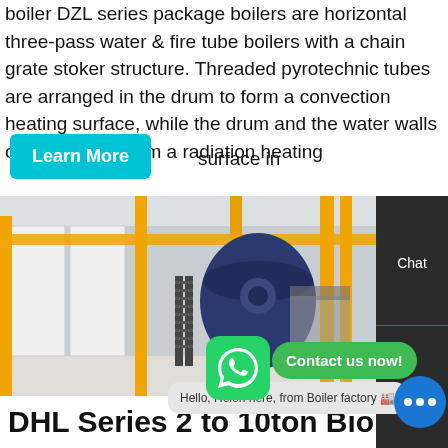boiler DZL series package boilers are horizontal three-pass water & fire tube boilers with a chain grate stoker structure. Threaded pyrotechnic tubes are arranged in the drum to form a convection heating surface, while the drum and the water walls on both sides form a radiation heating surface in
[Figure (photo): Industrial boiler facility interior showing large blue cylindrical boilers, yellow pipes/girders, metal staircases, and white paneled walls in a factory setting. Overlaid with WhatsApp contact button and 'Contact us now!' green button. Chat bubble reads 'Hello, Helen here, from Boiler factory'. Side panel shows Chat, Email, Contact options.]
DHL Series 2 to 10ton Bioma...